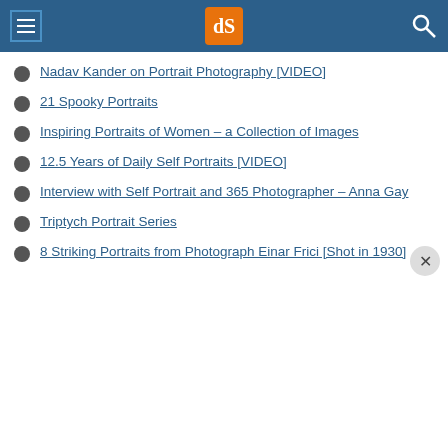dPS (Digital Photography School)
Nadav Kander on Portrait Photography [VIDEO]
21 Spooky Portraits
Inspiring Portraits of Women – a Collection of Images
12.5 Years of Daily Self Portraits [VIDEO]
Interview with Self Portrait and 365 Photographer – Anna Gay
Triptych Portrait Series
8 Striking Portraits from Photograph Einar Frici [Shot in 1930]